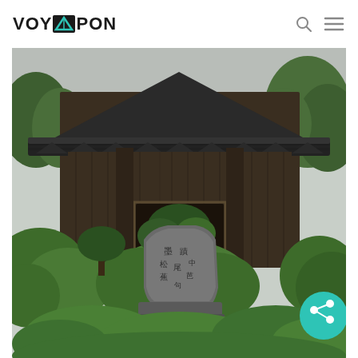VOYAPON
[Figure (photo): Traditional Japanese temple or shrine gate (mon) with curved tiled roof, dark weathered wooden walls, surrounded by lush green trees and bushes, with a large carved stone monument in the foreground bearing Japanese calligraphy inscription.]